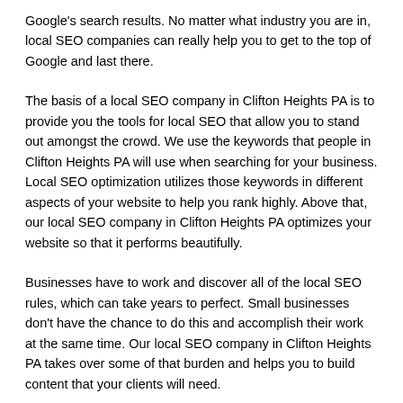Google's search results. No matter what industry you are in, local SEO companies can really help you to get to the top of Google and last there.
The basis of a local SEO company in Clifton Heights PA is to provide you the tools for local SEO that allow you to stand out amongst the crowd. We use the keywords that people in Clifton Heights PA will use when searching for your business. Local SEO optimization utilizes those keywords in different aspects of your website to help you rank highly. Above that, our local SEO company in Clifton Heights PA optimizes your website so that it performs beautifully.
Businesses have to work and discover all of the local SEO rules, which can take years to perfect. Small businesses don't have the chance to do this and accomplish their work at the same time. Our local SEO company in Clifton Heights PA takes over some of that burden and helps you to build content that your clients will need.
Best Local SEO Company in Clifton Heights PA
Our local SEO company in Clifton Heights PA helps you to control